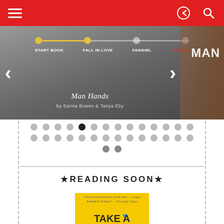Navigation bar with hamburger menu and share/search icons
[Figure (screenshot): Book progress banner showing 'Man Hands by Sarina Bowen & Tanya Eby' with reading stages: START BOOK, FALL IN LOVE, FANGIRL, re-READ. Left and right chevron navigation arrows. Book cover thumbnail on the right.]
[Figure (other): Pagination dots — two rows of gray dots with one black active dot, plus two dots below]
★READING SOON★
[Figure (photo): Book cover of 'Take a Hint, Dani Brown' by Talia Hibbert — yellow cover with illustrated characters]